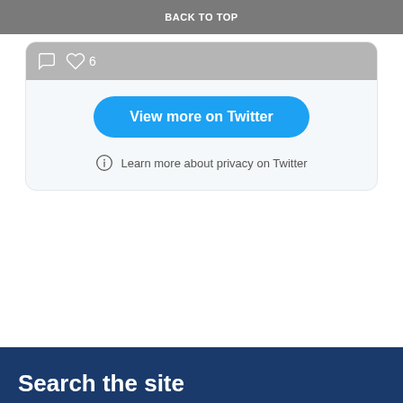BACK TO TOP
[Figure (screenshot): Top portion of a tweet card showing grey background with a heart/like icon and the number 6]
View more on Twitter
Learn more about privacy on Twitter
Search the site